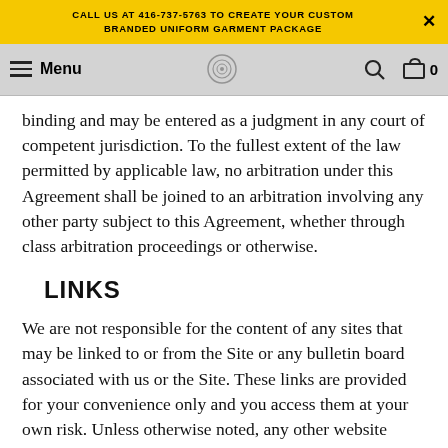CALL US AT 416-737-5763 TO CREATE YOUR CUSTOM BRANDED UNIFORM GARMENT PACKAGE
Menu
binding and may be entered as a judgment in any court of competent jurisdiction. To the fullest extent of the law permitted by applicable law, no arbitration under this Agreement shall be joined to an arbitration involving any other party subject to this Agreement, whether through class arbitration proceedings or otherwise.
LINKS
We are not responsible for the content of any sites that may be linked to or from the Site or any bulletin board associated with us or the Site. These links are provided for your convenience only and you access them at your own risk. Unless otherwise noted, any other website accessed